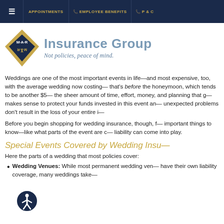≡  APPOINTMENTS  📞 EMPLOYEE BENEFITS  📞 P & C
[Figure (logo): M·A·R Insurance Group logo with diamond shape and tagline 'Not policies, peace of mind.']
Weddings are one of the most important events in life—and most expensive, too, with the average wedding now costing— that's before the honeymoon, which tends to be another $5— the sheer amount of time, effort, money, and planning that g— makes sense to protect your funds invested in this event an— unexpected problems don't result in the loss of your entire i—
Before you begin shopping for wedding insurance, though, f— important things to know—like what parts of the event are c— liability can come into play.
Special Events Covered by Wedding Insu—
Here the parts of a wedding that most policies cover:
Wedding Venues: While most permanent wedding ven— have their own liability coverage, many weddings take—